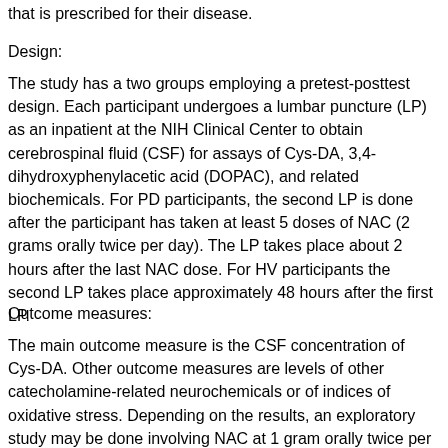that is prescribed for their disease.
Design:
The study has a two groups employing a pretest-posttest design. Each participant undergoes a lumbar puncture (LP) as an inpatient at the NIH Clinical Center to obtain cerebrospinal fluid (CSF) for assays of Cys-DA, 3,4-dihydroxyphenylacetic acid (DOPAC), and related biochemicals. For PD participants, the second LP is done after the participant has taken at least 5 doses of NAC (2 grams orally twice per day). The LP takes place about 2 hours after the last NAC dose. For HV participants the second LP takes place approximately 48 hours after the first LP.
Outcome measures:
The main outcome measure is the CSF concentration of Cys-DA. Other outcome measures are levels of other catecholamine-related neurochemicals or of indices of oxidative stress. Depending on the results, an exploratory study may be done involving NAC at 1 gram orally twice per day.